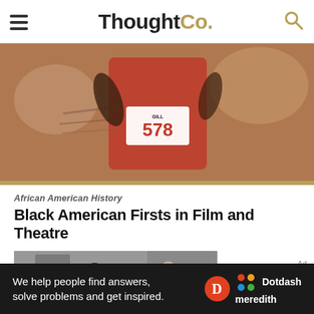ThoughtCo.
[Figure (photo): Athlete running in a red track and field uniform with bib number 578, holding a javelin or similar implement]
African American History
Black American Firsts in Film and Theatre
[Figure (photo): Black and white photograph of a scene from a film or theatre production showing a Black man in a suit speaking with other people in an indoor setting]
Ad
We help people find answers, solve problems and get inspired. Dotdash meredith